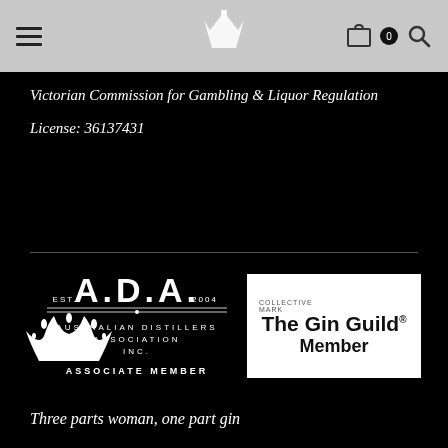Navigation bar with hamburger menu, crown logo, cart icon, and search icon
Victorian Commission for Gambling & Liquor Regulation
License: 36137431
[Figure (logo): A.D.A. EST. 2004 Australian Distillers Association Inc. Associate Member logo in white on black background]
[Figure (logo): The Gin Guild Collective Mark Member logo in black on white background]
[Figure (logo): Crown logo in white]
Three parts woman, one part gin